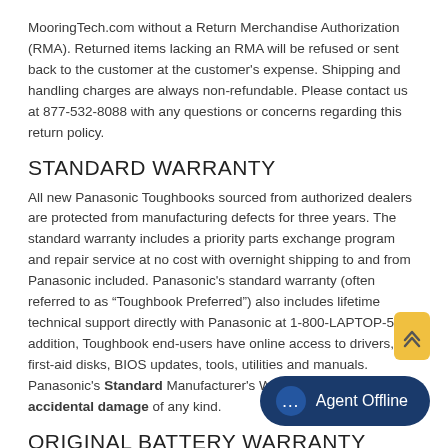MooringTech.com without a Return Merchandise Authorization (RMA). Returned items lacking an RMA will be refused or sent back to the customer at the customer's expense. Shipping and handling charges are always non-refundable. Please contact us at 877-532-8088 with any questions or concerns regarding this return policy.
STANDARD WARRANTY
All new Panasonic Toughbooks sourced from authorized dealers are protected from manufacturing defects for three years. The standard warranty includes a priority parts exchange program and repair service at no cost with overnight shipping to and from Panasonic included. Panasonic's standard warranty (often referred to as "Toughbook Preferred") also includes lifetime technical support directly with Panasonic at 1-800-LAPTOP-5. In addition, Toughbook end-users have online access to drivers, first-aid disks, BIOS updates, tools, utilities and manuals. Panasonic's Standard Manufacturer's Warranty does NOT cover accidental damage of any kind.
ORIGINAL BATTERY WARRANTY
All new batteries, whether included in the or acquired as an accessory after the fa for one (1) year from date of purchase. Replacement batteries supplied